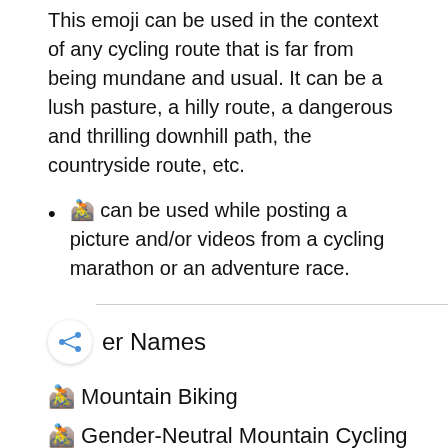This emoji can be used in the context of any cycling route that is far from being mundane and usual. It can be a lush pasture, a hilly route, a dangerous and thrilling downhill path, the countryside route, etc.
🚵 can be used while posting a picture and/or videos from a cycling marathon or an adventure race.
er Names
🚵 Mountain Biking
🚵 Gender-Neutral Mountain Cycling
🚵 Mountain Biker